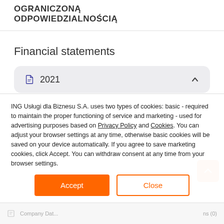OGRANICZONĄ ODPOWIEDZIALNOŚCIĄ
Financial statements
[Figure (other): Accordion UI element showing year 2021 with collapse chevron icon and book/document icon]
ING Usługi dla Biznesu S.A. uses two types of cookies: basic - required to maintain the proper functioning of service and marketing - used for advertising purposes based on Privacy Policy and Cookies. You can adjust your browser settings at any time, otherwise basic cookies will be saved on your device automatically. If you agree to save marketing cookies, click Accept. You can withdraw consent at any time from your browser settings.
Company Data   ...   ns (0)